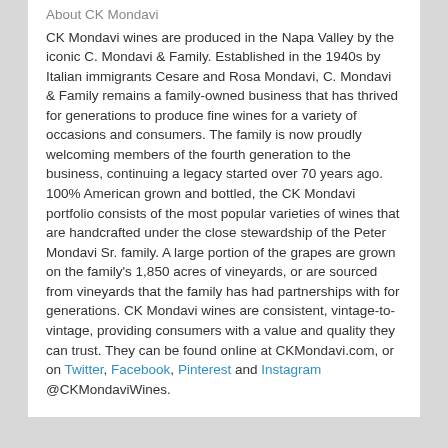About CK Mondavi
CK Mondavi wines are produced in the Napa Valley by the iconic C. Mondavi & Family. Established in the 1940s by Italian immigrants Cesare and Rosa Mondavi, C. Mondavi & Family remains a family-owned business that has thrived for generations to produce fine wines for a variety of occasions and consumers. The family is now proudly welcoming members of the fourth generation to the business, continuing a legacy started over 70 years ago. 100% American grown and bottled, the CK Mondavi portfolio consists of the most popular varieties of wines that are handcrafted under the close stewardship of the Peter Mondavi Sr. family. A large portion of the grapes are grown on the family's 1,850 acres of vineyards, or are sourced from vineyards that the family has had partnerships with for generations. CK Mondavi wines are consistent, vintage-to-vintage, providing consumers with a value and quality they can trust. They can be found online at CKMondavi.com, or on Twitter, Facebook, Pinterest and Instagram @CKMondaviWines.